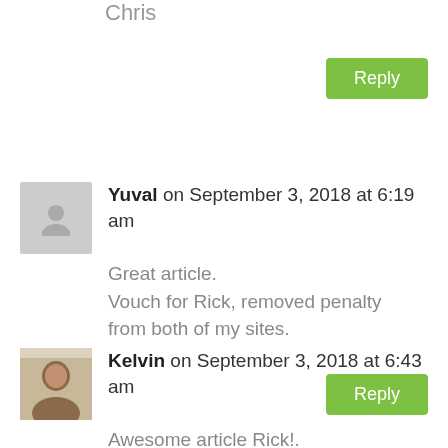Chris
Reply
Yuval on September 3, 2018 at 6:19 am
Great article.
Vouch for Rick, removed penalty from both of my sites.
Reply
Kelvin on September 3, 2018 at 6:43 am
Awesome article Rick!.